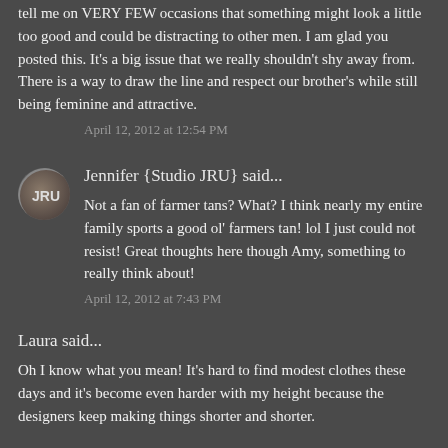tell me on VERY FEW occasions that something might look a little too good and could be distracting to other men. I am glad you posted this. It's a big issue that we really shouldn't shy away from. There is a way to draw the line and respect our brother's while still being feminine and attractive.
April 12, 2012 at 12:54 PM
Jennifer {Studio JRU} said...
Not a fan of farmer tans? What? I think nearly my entire family sports a good ol' farmers tan! lol I just could not resist! Great thoughts here though Amy, something to really think about!
April 12, 2012 at 7:43 PM
Laura said...
Oh I know what you mean! It's hard to find modest clothes these days and it's become even harder with my height because the designers keep making things shorter and shorter.